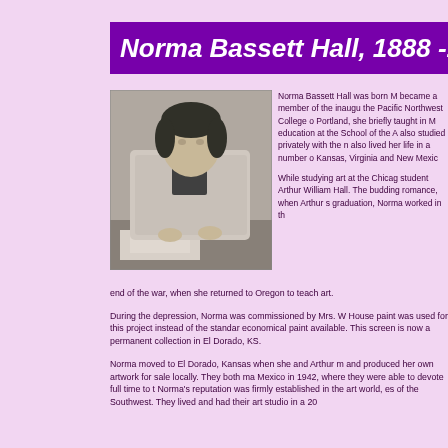Norma Bassett Hall, 1888 -1
[Figure (photo): Black and white portrait photograph of Norma Bassett Hall seated at a table, wearing a floral jacket, working with art materials.]
Norma Bassett Hall was born M became a member of the inaugu the Pacific Northwest College o Portland, she briefly taught in M education at the School of the A also studied privately with the n also lived her life in a number o Kansas, Virginia and New Mexic
While studying art at the Chicag student Arthur William Hall. The budding romance, when Arthur s graduation, Norma worked in th end of the war, when she returned to Oregon to teach art.
During the depression, Norma was commissioned by Mrs. W House paint was used for this project instead of the standar economical paint available. This screen is now a permanent collection in El Dorado, KS.
Norma moved to El Dorado, Kansas when she and Arthur m and produced her own artwork for sale locally. They both ma Mexico in 1942, where they were able to devote full time to t Norma's reputation was firmly established in the art world, es of the Southwest. They lived and had their art studio in a 20